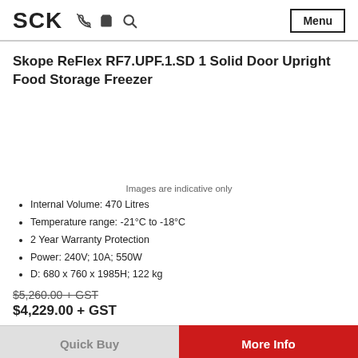SCK  Menu
Skope ReFlex RF7.UPF.1.SD 1 Solid Door Upright Food Storage Freezer
Images are indicative only
Internal Volume: 470 Litres
Temperature range: -21°C to -18°C
2 Year Warranty Protection
Power: 240V; 10A; 550W
D: 680 x 760 x 1985H; 122 kg
$5,260.00 + GST
$4,229.00 + GST
Quick Buy  More Info